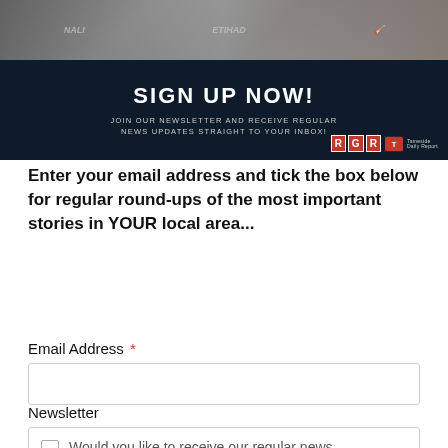[Figure (photo): Banner image with photos of people at top, dark navy background below with 'SIGN UP NOW!' text, newsletter subscription message, and RGR Tameside logo]
Enter your email address and tick the box below for regular round-ups of the most important stories in YOUR local area...
Email Address *
Newsletter
Would you like to receive our regular news updates direct to your inbox?